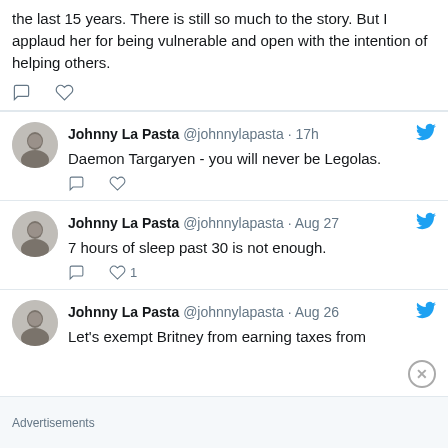the last 15 years. There is still so much to the story. But I applaud her for being vulnerable and open with the intention of helping others.
Johnny La Pasta @johnnylapasta · 17h
Daemon Targaryen - you will never be Legolas.
Johnny La Pasta @johnnylapasta · Aug 27
7 hours of sleep past 30 is not enough.
Johnny La Pasta @johnnylapasta · Aug 26
Let's exempt Britney from earning taxes from
Advertisements